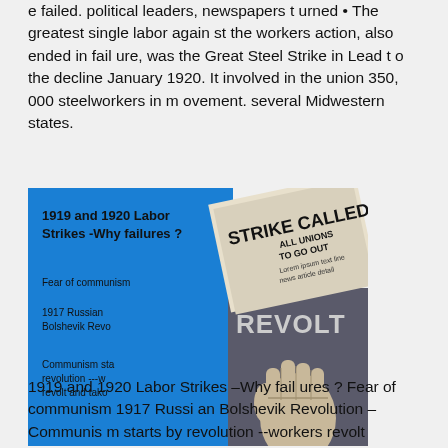store crash. The business leaders, while failed. political leaders, newspapers turned • The greatest single labor against the workers action, also ended in failure, was the Great Steel Strike in Lead to the decline January 1920. It involved in the union 350, 000 steelworkers in movement. several Midwestern states.
[Figure (illustration): Composite image about 1919 and 1920 Labor Strikes – Why failures? Shows newspaper headline 'STRIKE CALLED ALL UNIONS TO GO OUT' on blue background with text about Fear of communism, 1917 Russian Bolshevik Revolution, and Communism starts by revolution. Right side shows 'REVOLT' text with raised fist graphic on dark/grey background.]
1919 and 1920 Labor Strikes –Why failures ? Fear of communism 1917 Russian Bolshevik Revolution – Communism starts by revolution --workers revolt